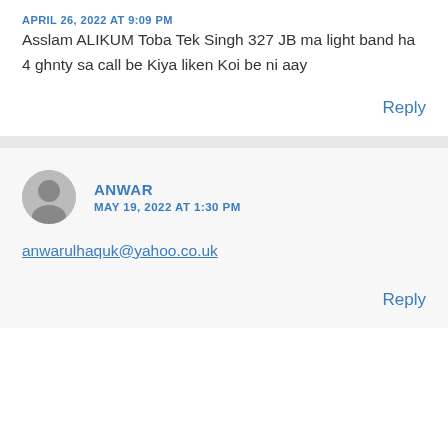APRIL 26, 2022 AT 9:09 PM
Asslam ALIKUM Toba Tek Singh 327 JB ma light band ha 4 ghnty sa call be Kiya liken Koi be ni aay
Reply
ANWAR
MAY 19, 2022 AT 1:30 PM
anwarulhaquk@yahoo.co.uk
Reply